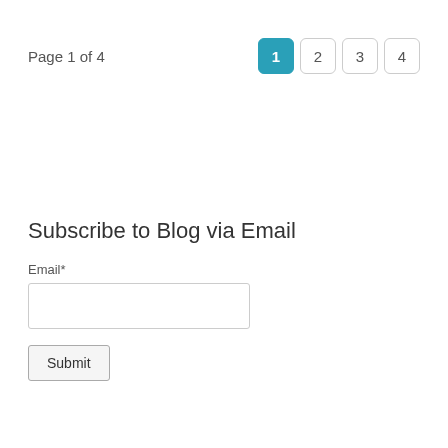Page 1 of 4
[Figure (other): Pagination controls showing pages 1 (active, teal), 2, 3, 4]
Subscribe to Blog via Email
Email*
Submit